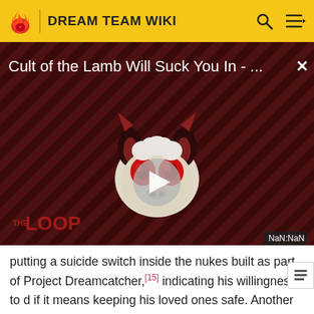DREAM TEAM WIKI
[Figure (screenshot): Video thumbnail for 'Cult of the Lamb Will Suck You In - ...' showing a cartoon animal character with red glowing eyes on a dark red diagonal-striped background, with THE LOOP watermark and a play button. Timer shows NaN:NaN.]
putting a suicide switch inside the nukes built as part of Project Dreamcatcher,[15] indicating his willingness to d if it means keeping his loved ones safe. Another example of this is when he jumped in front of one of Technoblade's fireworks during the Doomsday War in an attempt to